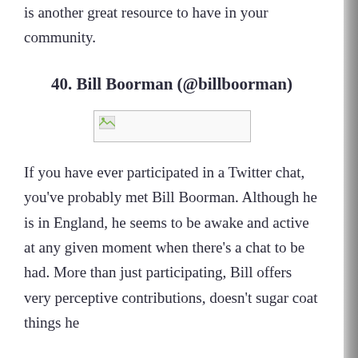is another great resource to have in your community.
40. Bill Boorman (@billboorman)
[Figure (other): Broken image placeholder for Bill Boorman]
If you have ever participated in a Twitter chat, you've probably met Bill Boorman. Although he is in England, he seems to be awake and active at any given moment when there's a chat to be had. More than just participating, Bill offers very perceptive contributions, doesn't sugar coat things he